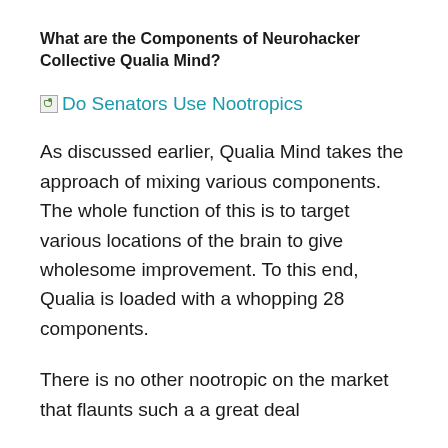What are the Components of Neurohacker Collective Qualia Mind?
[Figure (other): Broken image placeholder with link text 'Do Senators Use Nootropics' in cyan/teal color]
As discussed earlier, Qualia Mind takes the approach of mixing various components. The whole function of this is to target various locations of the brain to give wholesome improvement. To this end, Qualia is loaded with a whopping 28 components.
There is no other nootropic on the market that flaunts such a a great deal